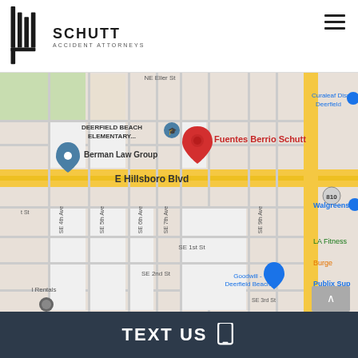[Figure (logo): Fuentes Berrio Schutt Accident Attorneys logo with vertical bars icon and firm name]
[Figure (map): Google Maps view showing Fuentes Berrio Schutt office location on E Hillsboro Blvd in Deerfield Beach, FL, with nearby landmarks including Berman Law Group, Deerfield Beach Elementary, Curaleaf Dispensary, Walgreens, LA Fitness, Goodwill Deerfield Beach, and Publix Supermarket.]
TEXT US